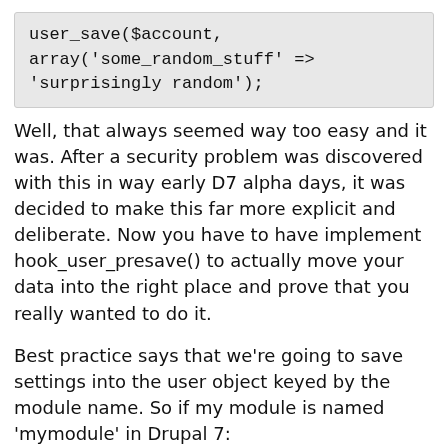[Figure (screenshot): Code block showing: user_save($account,
array('some_random_stuff' =>
'surprisingly random');]
Well, that always seemed way too easy and it was. After a security problem was discovered with this in way early D7 alpha days, it was decided to make this far more explicit and deliberate. Now you have to have implement hook_user_presave() to actually move your data into the right place and prove that you really wanted to do it.
Best practice says that we're going to save settings into the user object keyed by the module name. So if my module is named 'mymodule' in Drupal 7:
...
$stuff->mymodule->some_stuff(
[Figure (screenshot): Empty code area]